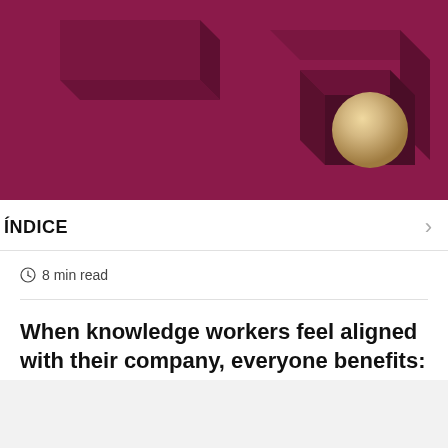[Figure (illustration): Abstract 3D illustration on dark magenta/burgundy background showing geometric cube/box shapes and a beige/cream sphere resting in a square indentation]
ÍNDICE
8 min read
When knowledge workers feel aligned with their company, everyone benefits: